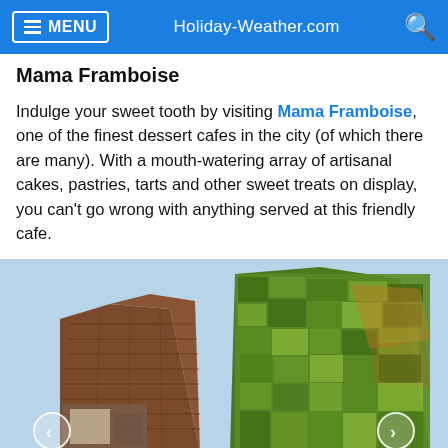MENU  Holiday-Weather.com
Mama Framboise
Indulge your sweet tooth by visiting Mama Framboise, one of the finest dessert cafes in the city (of which there are many). With a mouth-watering array of artisanal cakes, pastries, tarts and other sweet treats on display, you can't go wrong with anything served at this friendly cafe.
[Figure (photo): Exterior view of buildings from below — a rust/brown angular building on the left and a tall building covered in green living plant wall on the right, against a light blue sky.]